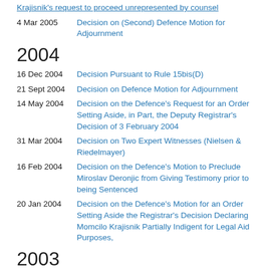Krajisnik's request to proceed unrepresented by counsel
4 Mar 2005  Decision on (Second) Defence Motion for Adjournment
2004
16 Dec 2004  Decision Pursuant to Rule 15bis(D)
21 Sept 2004  Decision on Defence Motion for Adjournment
14 May 2004  Decision on the Defence's Request for an Order Setting Aside, in Part, the Deputy Registrar's Decision of 3 February 2004
31 Mar 2004  Decision on Two Expert Witnesses (Nielsen & Riedelmayer)
16 Feb 2004  Decision on the Defence's Motion to Preclude Miroslav Deronjic from Giving Testimony prior to being Sentenced
20 Jan 2004  Decision on the Defence's Motion for an Order Setting Aside the Registrar's Decision Declaring Momcilo Krajisnik Partially Indigent for Legal Aid Purposes,
2003
23 Jul 2003  Corrigendum on Decision on Defence Motion for Order and Direction